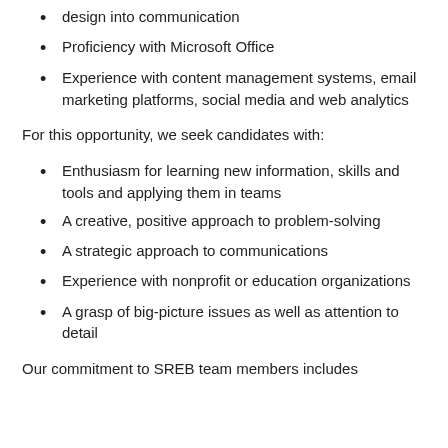design into communication
Proficiency with Microsoft Office
Experience with content management systems, email marketing platforms, social media and web analytics
For this opportunity, we seek candidates with:
Enthusiasm for learning new information, skills and tools and applying them in teams
A creative, positive approach to problem-solving
A strategic approach to communications
Experience with nonprofit or education organizations
A grasp of big-picture issues as well as attention to detail
Our commitment to SREB team members includes